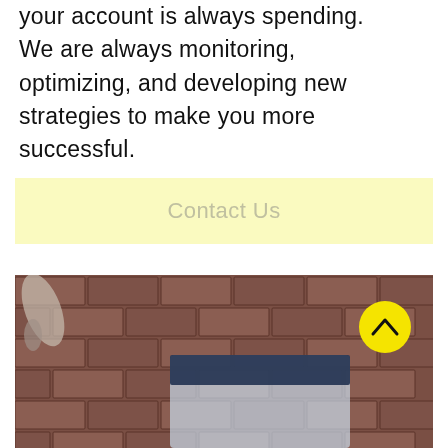We don't work 'normal hours' — your account is always spending. We are always monitoring, optimizing, and developing new strategies to make you more successful.
Contact Us
[Figure (photo): Photo showing a brick wall background with a blurred smartphone screen visible, and a yellow circular scroll-to-top button with a chevron/arrow icon in the upper right of the image.]